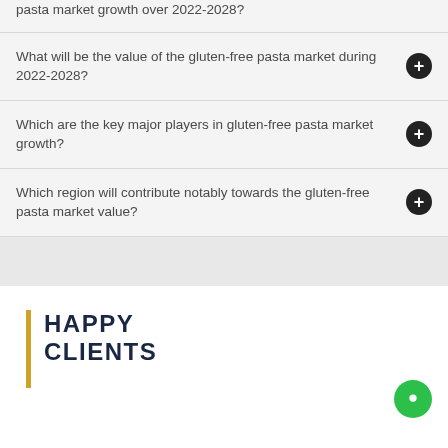pasta market growth over 2022-2028?
What will be the value of the gluten-free pasta market during 2022-2028?
Which are the key major players in gluten-free pasta market growth?
Which region will contribute notably towards the gluten-free pasta market value?
HAPPY CLIENTS